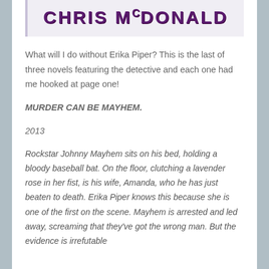[Figure (illustration): Header banner with author name CHRIS McDONALD in bold purple uppercase text on a light lavender background with a left border accent and pink speckle decoration.]
What will I do without Erika Piper? This is the last of three novels featuring the detective and each one had me hooked at page one!
MURDER CAN BE MAYHEM.
2013
Rockstar Johnny Mayhem sits on his bed, holding a bloody baseball bat. On the floor, clutching a lavender rose in her fist, is his wife, Amanda, who he has just beaten to death. Erika Piper knows this because she is one of the first on the scene. Mayhem is arrested and led away, screaming that they've got the wrong man. But the evidence is irrefutable